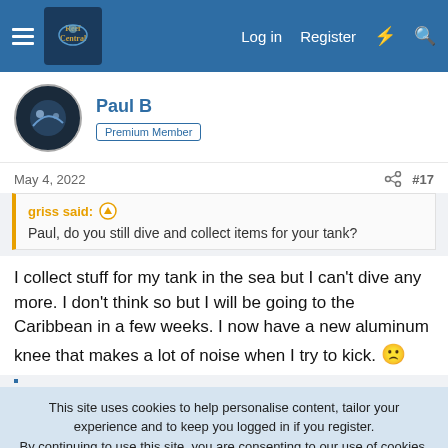Reef Central — Log in | Register
Paul B — Premium Member
May 4, 2022   #17
griss said: ↑
Paul, do you still dive and collect items for your tank?
I collect stuff for my tank in the sea but I can't dive any more. I don't think so but I will be going to the Caribbean in a few weeks. I now have a new aluminum knee that makes a lot of noise when I try to kick. 🙁
This site uses cookies to help personalise content, tailor your experience and to keep you logged in if you register.
By continuing to use this site, you are consenting to our use of cookies.